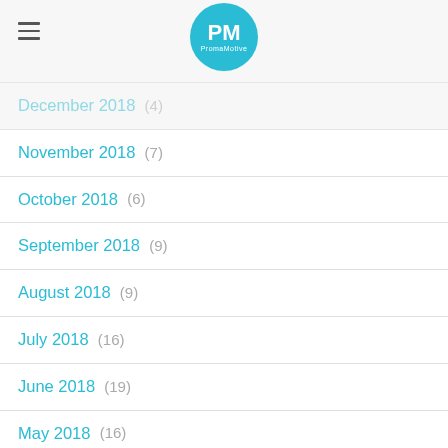PM PromaMotive
December 2018 (4)
November 2018 (7)
October 2018 (6)
September 2018 (9)
August 2018 (9)
July 2018 (16)
June 2018 (19)
May 2018 (16)
April 2018 (18)
March 2018 (11)
February 2018 (?)